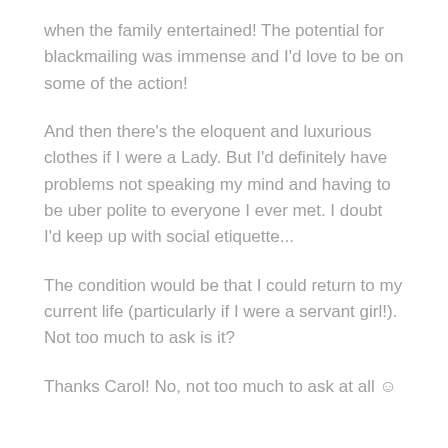when the family entertained!  The potential for blackmailing was immense and I'd love to be on some of the action!
And then there's the eloquent and luxurious clothes if I were a Lady.  But I'd definitely have problems not speaking my mind and having to be uber polite to everyone I ever met.  I doubt I'd keep up with social etiquette...
The condition would be that I could return to my current life (particularly if I were a servant girl!).  Not too much to ask is it?
Thanks Carol! No, not too much to ask at all ☺